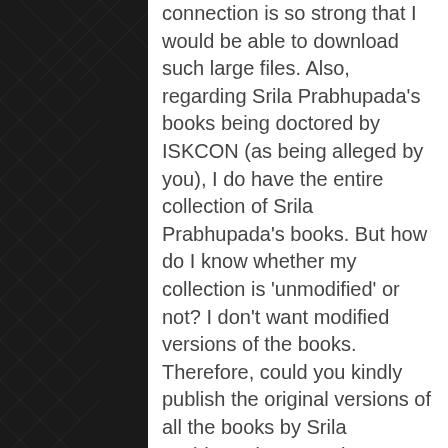connection is so strong that I would be able to download such large files. Also, regarding Srila Prabhupada's books being doctored by ISKCON (as being alleged by you), I do have the entire collection of Srila Prabhupada's books. But how do I know whether my collection is 'unmodified' or not? I don't want modified versions of the books. Therefore, could you kindly publish the original versions of all the books by Srila Prabhupada as you have done with this original edition of Srimad